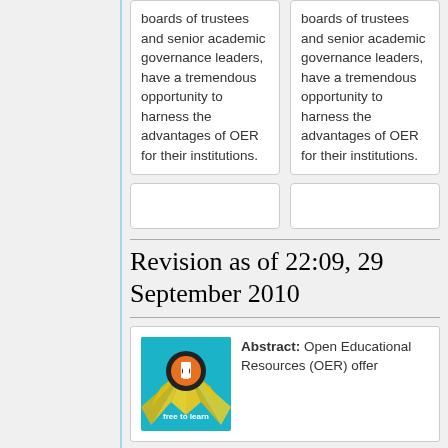boards of trustees and senior academic governance leaders, have a tremendous opportunity to harness the advantages of OER for their institutions.
boards of trustees and senior academic governance leaders, have a tremendous opportunity to harness the advantages of OER for their institutions.
Revision as of 22:09, 29 September 2010
[Figure (illustration): OER 'free to learn' logo on teal background with orange circle icon and radiating yellow beams]
Abstract: Open Educational Resources (OER) offer